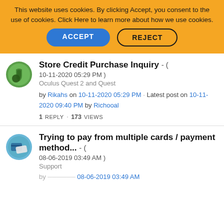This website uses cookies. By clicking Accept, you consent to the use of cookies. Click Here to learn more about how we use cookies.
ACCEPT | REJECT
Store Credit Purchase Inquiry - ( 10-11-2020 05:29 PM )
Oculus Quest 2 and Quest
by Rikahs on 10-11-2020 05:29 PM · Latest post on 10-11-2020 09:40 PM by Richooal
1 REPLY · 173 VIEWS
Trying to pay from multiple cards / payment method... - ( 08-06-2019 03:49 AM )
Support
by someone on 08-06-2019 03:49 AM